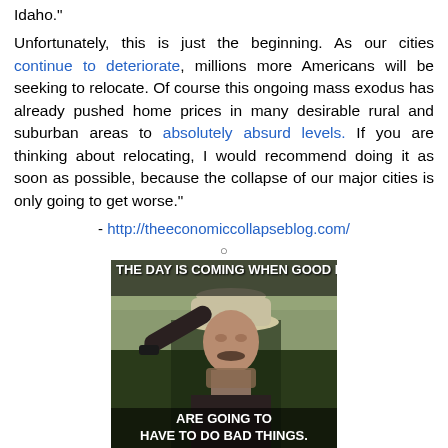Idaho." Unfortunately, this is just the beginning. As our cities continue to deteriorate, millions more Americans will be seeking to relocate. Of course this ongoing mass exodus has already pushed home prices in many desirable rural and suburban areas to absolutely absurd levels. If you are thinking about relocating, I would recommend doing it as soon as possible, because the collapse of our major cities is only going to get worse."
- http://theeconomiccollapseblog.com/
○
[Figure (photo): Meme image of a man in a cowboy hat with text: 'THE DAY IS COMING WHEN GOOD MEN ARE GOING TO HAVE TO DO BAD THINGS.']